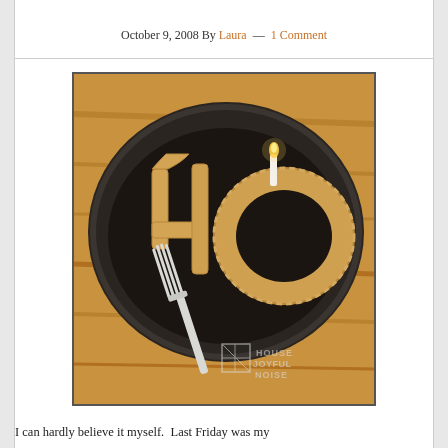October 9, 2008 By Laura — 1 Comment
[Figure (photo): A dark round plate on a wooden table with a pastry/pie crust shaped into the number '40', with a lit candle on it and a fork resting on the plate. A watermark reads 'HOUSE JOYFUL NOISE' in the lower right corner.]
I can hardly believe it myself.  Last Friday was my